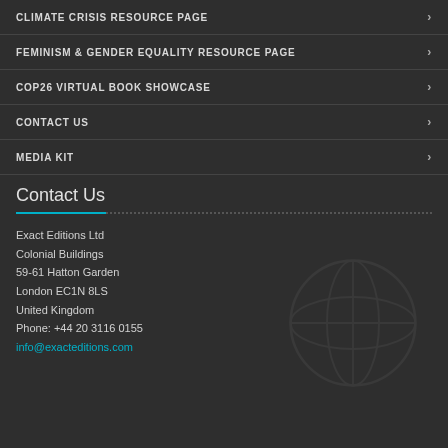CLIMATE CRISIS RESOURCE PAGE
FEMINISM & GENDER EQUALITY RESOURCE PAGE
COP26 VIRTUAL BOOK SHOWCASE
CONTACT US
MEDIA KIT
Contact Us
Exact Editions Ltd
Colonial Buildings
59-61 Hatton Garden
London EC1N 8LS
United Kingdom
Phone: +44 20 3116 0155
info@exacteditions.com